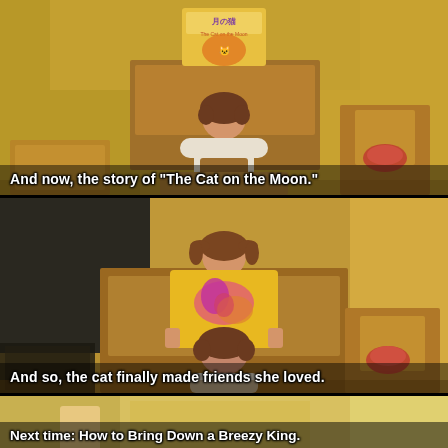[Figure (screenshot): Anime screenshot panel 1: A student seen from behind sitting at a desk in a classroom, holding up a book titled 'The Cat on the Moon' (月の猫). Wooden desks and chairs visible, warm yellowish classroom background.]
And now, the story of "The Cat on the Moon."
[Figure (screenshot): Anime screenshot panel 2: Same classroom scene from slightly different angle. A girl with brown hair in pigtails holds up a colorful illustrated book. The same student seen from behind in foreground. Dark chalkboard background on the left, warm lighting on the right.]
And so, the cat finally made friends she loved.
[Figure (screenshot): Anime screenshot panel 3: Partial view of a brighter scene, possibly outdoors or different setting.]
Next time: How to Bring Down a Breezy King.